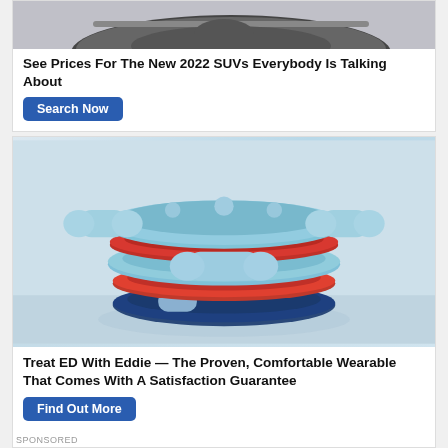[Figure (photo): Top portion of a car shown from above, dark colored vehicle on light background]
See Prices For The New 2022 SUVs Everybody Is Talking About
Search Now
[Figure (photo): Stacked light blue wearable ring devices with bone-shaped connectors and red/navy accent rings, product photo on light blue background]
Treat ED With Eddie — The Proven, Comfortable Wearable That Comes With A Satisfaction Guarantee
Find Out More
SPONSORED